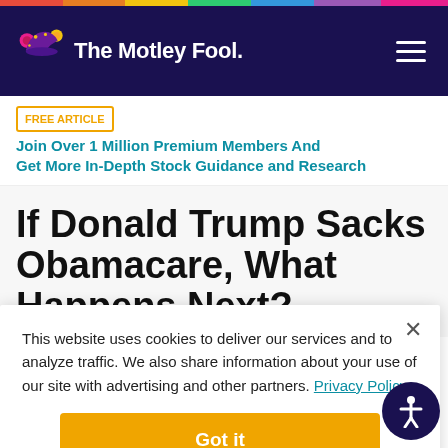[Figure (logo): The Motley Fool logo with jester hat and white text on navy background]
FREE ARTICLE | Join Over 1 Million Premium Members And Get More In-Depth Stock Guidance and Research
If Donald Trump Sacks Obamacare, What Happens Next?
This website uses cookies to deliver our services and to analyze traffic. We also share information about your use of our site with advertising and other partners. Privacy Policy
Got it
Cookie Settings